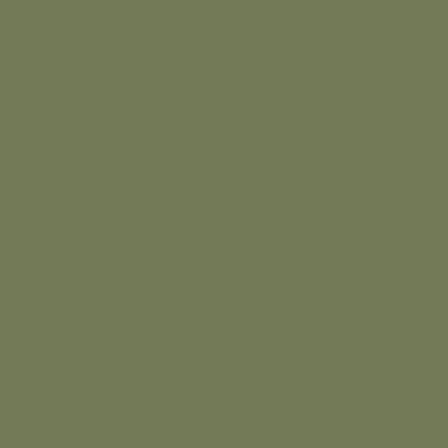bin pre the hoo in my pre pos I've now fire it up a few tim and am get the han of it. Th...